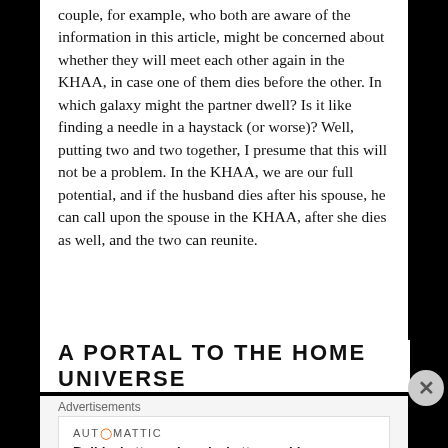couple, for example, who both are aware of the information in this article, might be concerned about whether they will meet each other again in the KHAA, in case one of them dies before the other. In which galaxy might the partner dwell? Is it like finding a needle in a haystack (or worse)? Well, putting two and two together, I presume that this will not be a problem. In the KHAA, we are our full potential, and if the husband dies after his spouse, he can call upon the spouse in the KHAA, after she dies as well, and the two can reunite.
A PORTAL TO THE HOME UNIVERSE
Advertisements
[Figure (other): Automattic advertisement: 'Build a better web and a better world.']